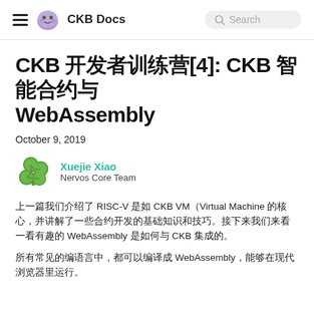CKB Docs
CKB 开发者训练营[4]: CKB 智能合约与 WebAssembly
October 9, 2019
Xuejie Xiao
Nervos Core Team
上一篇我们介绍了 RISC-V 是如何 CKB VM（Virtual Machine 的核心，并讲解了一些合约开发的基础知识和技巧。接下来我们来看一看有趣的 WebAssembly 是如何与 CKB 集成的。
WebAssembly（Wasm）是一种二进制指令格式，专门为运行在栈式虚拟机上而设计。